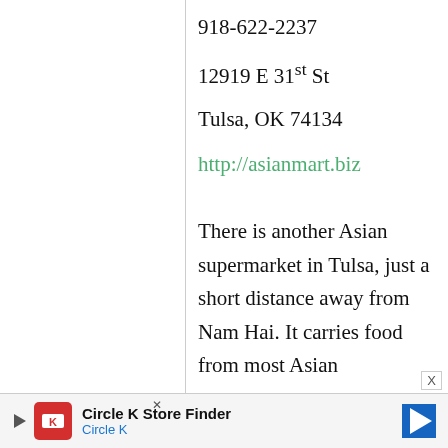918-622-2237
12919 E 31st St
Tulsa, OK 74134
http://asianmart.biz
There is another Asian supermarket in Tulsa, just a short distance away from Nam Hai. It carries food from most Asian
[Figure (other): Circle K Store Finder advertisement banner at the bottom of the page]